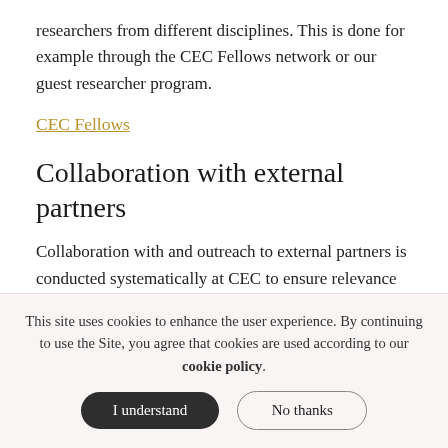researchers from different disciplines. This is done for example through the CEC Fellows network or our guest researcher program.
CEC Fellows
Collaboration with external partners
Collaboration with and outreach to external partners is conducted systematically at CEC to ensure relevance in research and education, and applicability of research results that can inform decision-making in society at
This site uses cookies to enhance the user experience. By continuing to use the Site, you agree that cookies are used according to our cookie policy.